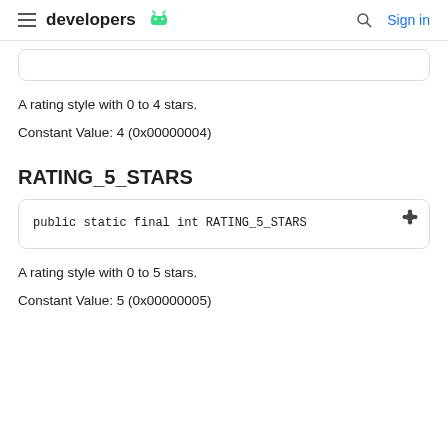developers | Sign in
A rating style with 0 to 4 stars.
Constant Value: 4 (0x00000004)
RATING_5_STARS
public static final int RATING_5_STARS
A rating style with 0 to 5 stars.
Constant Value: 5 (0x00000005)